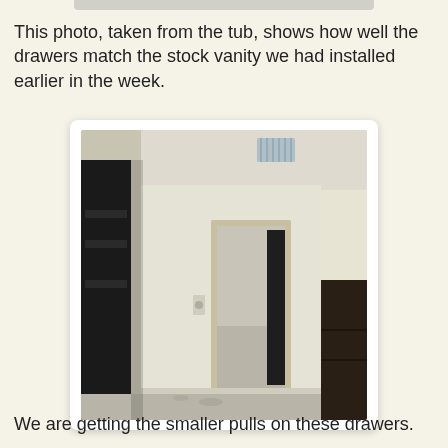[Figure (photo): Partial top edge of a previous photo (cropped) showing a room interior.]
This photo, taken from the tub, shows how well the drawers match the stock vanity we had installed earlier in the week.
[Figure (photo): Interior hallway/bedroom photo showing a black door on the left, a doorway with light wood trim in the center leading to another room, dark wood furniture on the right, and gray carpeted floor under construction.]
We are getting the smaller pulls on these drawers.